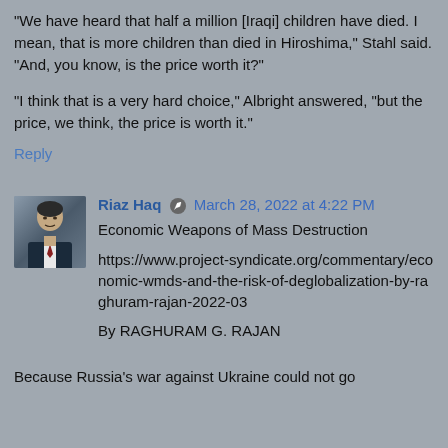"We have heard that half a million [Iraqi] children have died. I mean, that is more children than died in Hiroshima," Stahl said. "And, you know, is the price worth it?"
"I think that is a very hard choice," Albright answered, "but the price, we think, the price is worth it."
Reply
[Figure (photo): Avatar photo of Riaz Haq, showing a man in a suit]
Riaz Haq  March 28, 2022 at 4:22 PM
Economic Weapons of Mass Destruction
https://www.project-syndicate.org/commentary/economic-wmds-and-the-risk-of-deglobalization-by-raghuram-rajan-2022-03
By RAGHURAM G. RAJAN
Because Russia's war against Ukraine could not go